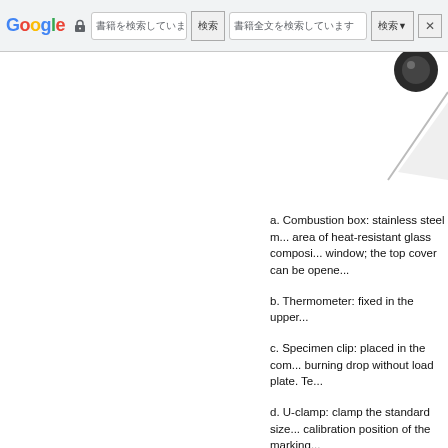Google toolbar with address bar and navigation controls
[Figure (screenshot): Partial view of a document page with a diagonal decorative element in the upper right corner, showing a dark circular element and a diagonal line.]
a. Combustion box: stainless steel m... area of heat-resistant glass composi... window; the top cover can be opene...
b. Thermometer: fixed in the upper...
c. Specimen clip: placed in the com... burning drop without load plate. Te...
d. U-clamp: clamp the standard size... calibration position of the marking...
e. Control box: the control box has... burner gas tube, the other connecte... regulating valves.
f. Panel: automatic manual switchin...